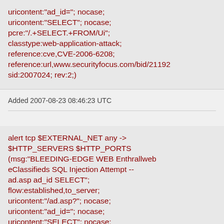uricontent:"ad_id="; nocase; uricontent:"SELECT"; nocase; pcre:"/.+SELECT.+FROM/Ui"; classtype:web-application-attack; reference:cve,CVE-2006-6208; reference:url,www.securityfocus.com/bid/21192; sid:2007024; rev:2;)
Added 2007-08-23 08:46:23 UTC
alert tcp $EXTERNAL_NET any -> $HTTP_SERVERS $HTTP_PORTS (msg:"BLEEDING-EDGE WEB Enthrallweb eClassifieds SQL Injection Attempt -- ad.asp ad_id SELECT"; flow:established,to_server; uricontent:"/ad.asp?"; nocase; uricontent:"ad_id="; nocase; uricontent:"SELECT"; nocase; pcre:"/.+SELECT.+FROM/Ui";